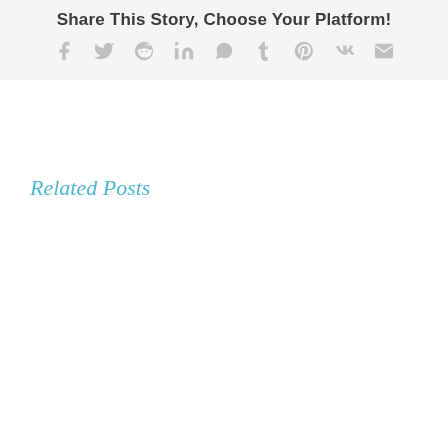Share This Story, Choose Your Platform!
[Figure (infographic): Social sharing icons row: Facebook, Twitter, Reddit, LinkedIn, WhatsApp, Tumblr, Pinterest, VK, Email — all in light gray]
Related Posts